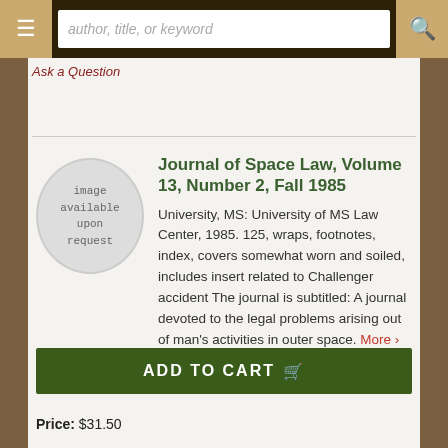author, title, or keyword
Ask a Question
Journal of Space Law, Volume 13, Number 2, Fall 1985
[Figure (illustration): Circular image placeholder reading 'image available upon request']
University, MS: University of MS Law Center, 1985. 125, wraps, footnotes, index, covers somewhat worn and soiled, includes insert related to Challenger accident The journal is subtitled: A journal devoted to the legal problems arising out of man's activities in outer space. More ›
ADD TO CART
Price: $31.50